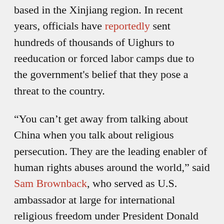based in the Xinjiang region. In recent years, officials have reportedly sent hundreds of thousands of Uighurs to reeducation or forced labor camps due to the government's belief that they pose a threat to the country.
“You can’t get away from talking about China when you talk about religious persecution. They are the leading enabler of human rights abuses around the world,” said Sam Brownback, who served as U.S. ambassador at large for international religious freedom under President Donald Trump, during a Jan. 5 event co-hosted by the Religious Freedom Institute and The Catholic University of America.
To read the full article, CLICK HERE.